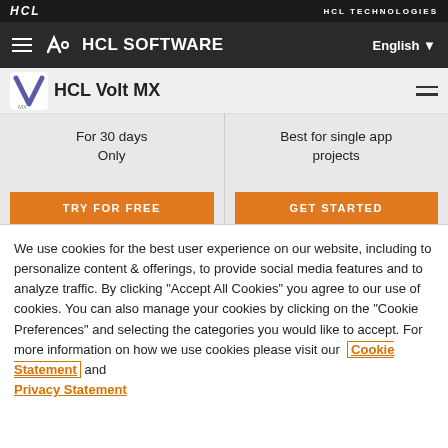HCL | HCL TECHNOLOGIES
HCL SOFTWARE | English
HCL Volt MX
For 30 days Only
Best for single app projects
TRY FOR FREE
GET STARTED
We use cookies for the best user experience on our website, including to personalize content & offerings, to provide social media features and to analyze traffic. By clicking "Accept All Cookies" you agree to our use of cookies. You can also manage your cookies by clicking on the "Cookie Preferences" and selecting the categories you would like to accept. For more information on how we use cookies please visit our Cookie Statement and Privacy Statement